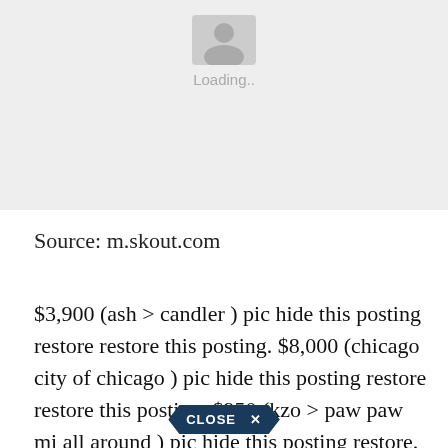[Figure (other): Gray loading placeholder with a person/image icon and 'Loading..' text]
Source: m.skout.com
$3,900 (ash > candler ) pic hide this posting restore restore this posting. $8,000 (chicago city of chicago ) pic hide this posting restore restore this posting. $950 (kzo > paw paw mi all around ) pic hide this posting restore. $7,795 (murphysboro, il 62966 ) hide this posting restore restore.
[Figure (other): CLOSE X button overlay at bottom center]